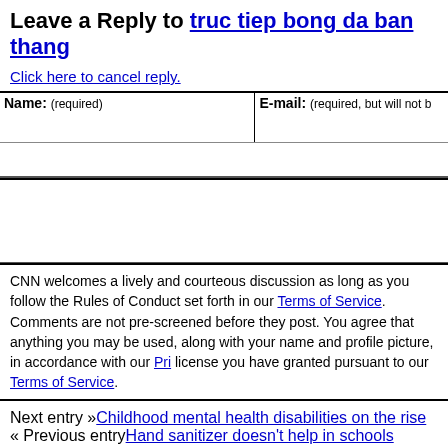Leave a Reply to truc tiep bong da ban thang
Click here to cancel reply.
| Name: (required) | E-mail: (required, but will not be published) |
| --- | --- |
|  |  |
CNN welcomes a lively and courteous discussion as long as you follow the Rules of Conduct set forth in our Terms of Service. Comments are not pre-screened before they post. You agree that anything you post may be used, along with your name and profile picture, in accordance with our Privacy Policy and the license you have granted pursuant to our Terms of Service.
Next entry »Childhood mental health disabilities on the rise
« Previous entryHand sanitizer doesn't help in schools